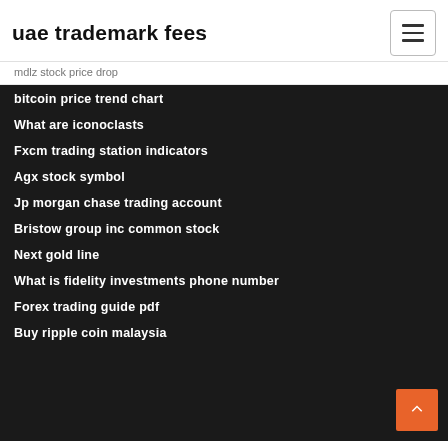uae trademark fees
mdlz stock price drop
bitcoin price trend chart
What are iconoclasts
Fxcm trading station indicators
Agx stock symbol
Jp morgan chase trading account
Bristow group inc common stock
Next gold line
What is fidelity investments phone number
Forex trading guide pdf
Buy ripple coin malaysia